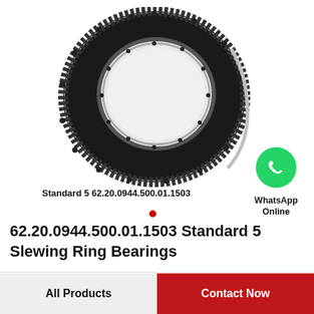[Figure (illustration): Slewing ring bearing (large black circular gear ring bearing) photographed against white background, with 'Standard 5 62.20.0944.500.01.1503' text caption overlaid at bottom of image]
Standard 5 62.20.0944.500.01.1503
[Figure (logo): WhatsApp green circle logo icon with phone handset symbol, with 'WhatsApp Online' text beneath it]
62.20.0944.500.01.1503 Standard 5 Slewing Ring Bearings
All Products
Contact Now